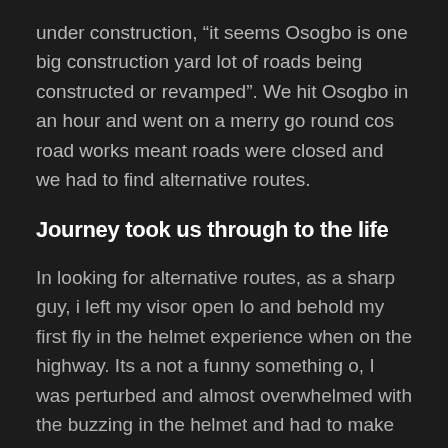under construction, “it seems Osogbo is one big construction yard lot of roads being constructed or revamped”. We hit Osogbo in an hour and went on a merry go round cos road works meant roads were closed and we had to find alternative routes.
Journey took us through to the life
In looking for alternative routes, as a sharp guy, i left my visor open lo and behold my first fly in the helmet experience when on the highway. Its a not a funny something o, I was perturbed and almost overwhelmed with the buzzing in the helmet and had to make an emergency stop to save myself.